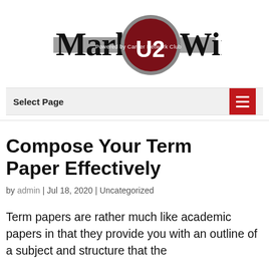[Figure (logo): Market U2 Win logo — 'Market' in black serif, a dark red circular badge with 'U2' in white, 'Win' in black serif, and 'Powered by Career Network Club' in grey beneath on a grey bar]
Select Page
Compose Your Term Paper Effectively
by admin | Jul 18, 2020 | Uncategorized
Term papers are rather much like academic papers in that they provide you with an outline of a subject and structure that the